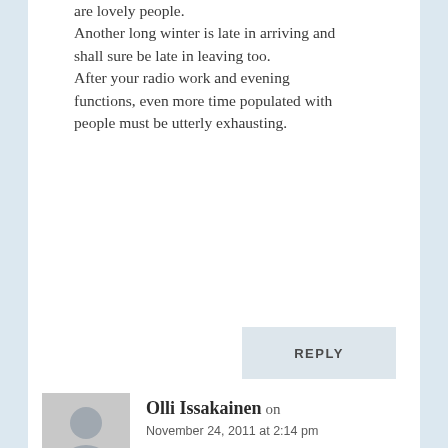are lovely people.
Another long winter is late in arriving and shall sure be late in leaving too.
After your radio work and evening functions, even more time populated with people must be utterly exhausting.
REPLY
Olli Issakainen on
November 24, 2011 at 2:14 pm
The press is not above law.
But we need to secure investigative